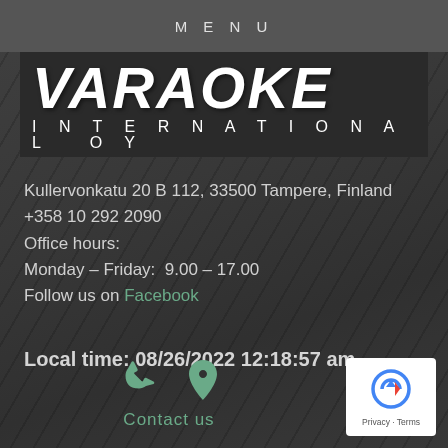MENU
[Figure (logo): Varaoke International OY logo — white bold italic text on dark background]
Kullervonkatu 20 B 112, 33500 Tampere, Finland
+358 10 292 2090
Office hours:
Monday – Friday:  9.00 – 17.00
Follow us on Facebook
Local time: 08/26/2022 12:18:57 am
Contact us
[Figure (logo): Google reCAPTCHA badge with Privacy and Terms links]